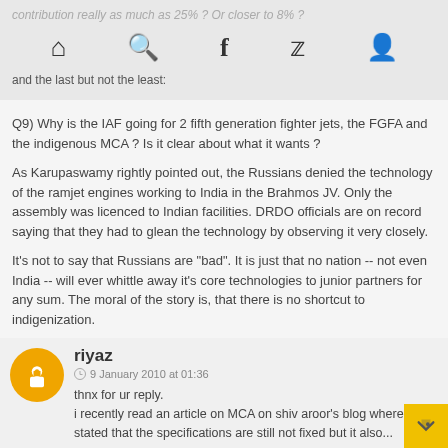contribution really as much as 25% ? Or closer to 8% ?
and the last but not the least:
Q9) Why is the IAF going for 2 fifth generation fighter jets, the FGFA and the indigenous MCA ? Is it clear about what it wants ?
As Karupaswamy rightly pointed out, the Russians denied the technology of the ramjet engines working to India in the Brahmos JV. Only the assembly was licenced to Indian facilities. DRDO officials are on record saying that they had to glean the technology by observing it very closely.
It's not to say that Russians are "bad". It is just that no nation -- not even India -- will ever whittle away it's core technologies to junior partners for any sum. The moral of the story is, that there is no shortcut to indigenization.
Reply
riyaz
9 January 2010 at 01:36
thnx for ur reply.
i recently read an article on MCA on shiv aroor's blog where it stated that the specifications are still not fixed but it also...